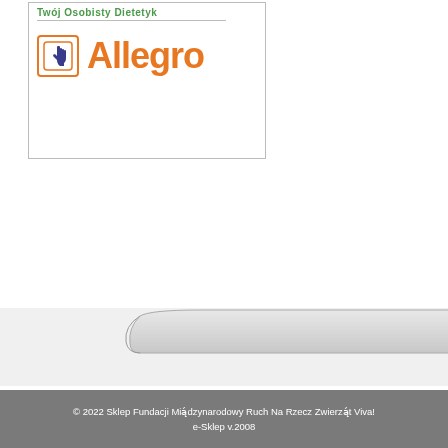[Figure (screenshot): Twój Osobisty Dietetyk label with Allegro logo (orange hand icon and orange Allegro text) inside a bordered box]
23 sierpnia 2022
[Figure (screenshot): Partial website navigation bar with curved tab shape and buttons labeled Regulamin and Dos (partially cut off), with blue pill-shaped elements below]
© 2022 Sklep Fundacji Międzynarodowy Ruch Na Rzecz Zwierząt Viva!
e-Sklep v.2008